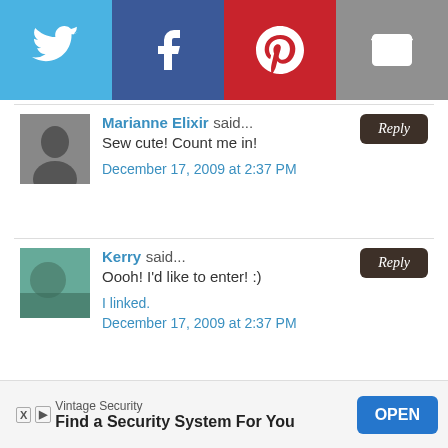[Figure (infographic): Social sharing bar with Twitter (blue), Facebook (dark blue), Pinterest (red), and Email (gray) icons]
Marianne Elixir said...
Sew cute! Count me in!
December 17, 2009 at 2:37 PM
Kerry said...
Oooh! I'd like to enter! :)
I linked.
December 17, 2009 at 2:37 PM
Welcome to Lulu's life. said...
Vintage Security
Find a Security System For You